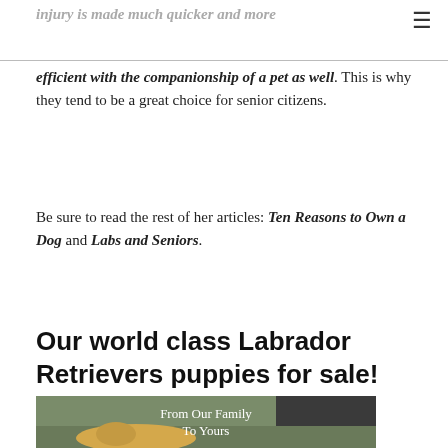injury is made much quicker and more efficient with the companionship of a pet as well. This is why they tend to be a great choice for senior citizens.
Be sure to read the rest of her articles: Ten Reasons to Own a Dog and Labs and Seniors.
Our world class Labrador Retrievers puppies for sale!
[Figure (photo): Two yellow Labrador Retriever puppies lying on grass with text overlay reading 'From Our Family To Yours']